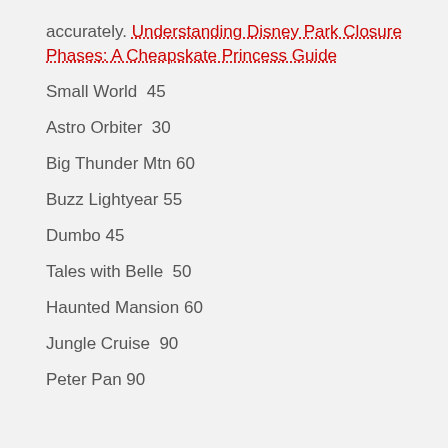accurately. Understanding Disney Park Closure Phases: A Cheapskate Princess Guide
Small World  45
Astro Orbiter  30
Big Thunder Mtn 60
Buzz Lightyear 55
Dumbo 45
Tales with Belle  50
Haunted Mansion 60
Jungle Cruise  90
Peter Pan 90